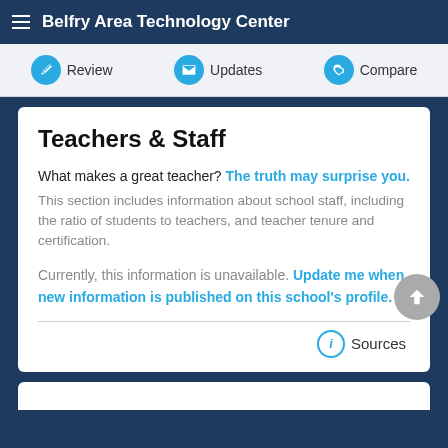Belfry Area Technology Center
[Figure (screenshot): Navigation tab bar with Review, Updates, and Compare tabs, each with a circular teal icon]
Teachers & Staff
What makes a great teacher? The truth may surprise you.
This section includes information about school staff, including the ratio of students to teachers, and teacher tenure and certification.
Currently, this information is unavailable. Update me when new information is published on this school's profile.
Sources